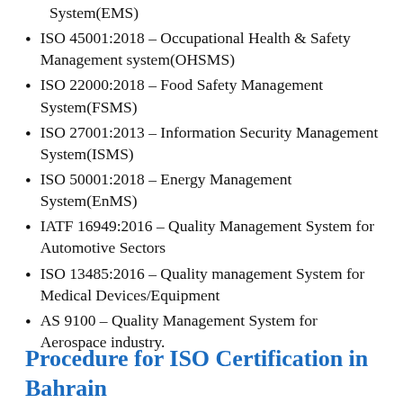System(EMS)
ISO 45001:2018 – Occupational Health & Safety Management system(OHSMS)
ISO 22000:2018 – Food Safety Management System(FSMS)
ISO 27001:2013 – Information Security Management System(ISMS)
ISO 50001:2018 – Energy Management System(EnMS)
IATF 16949:2016 – Quality Management System for Automotive Sectors
ISO 13485:2016 – Quality management System for Medical Devices/Equipment
AS 9100 – Quality Management System for Aerospace industry.
Procedure for ISO Certification in Bahrain